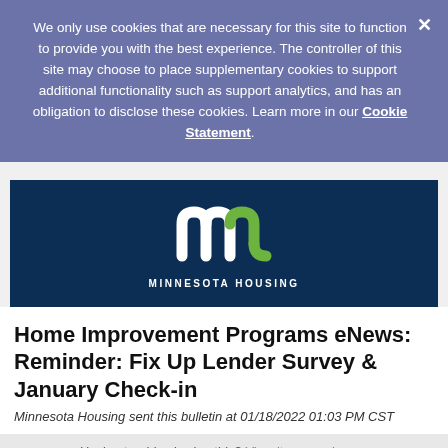We only use cookies that are necessary for this site to function to provide you with the best experience. The controller of this site may choose to place supplementary cookies to support additional functionality such as support analytics, and has an obligation to disclose these cookies. Learn more in our Cookie Statement.
[Figure (logo): Minnesota Housing logo — stylized white and green 'm' letterform on dark navy background with text 'MINNESOTA HOUSING' below]
Home Improvement Programs eNews: Reminder: Fix Up Lender Survey & January Check-in
Minnesota Housing sent this bulletin at 01/18/2022 01:03 PM CST
Having trouble viewing this? View it as a webpage